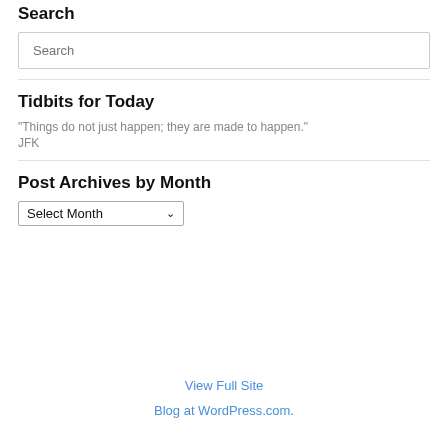Search
Search
Tidbits for Today
"Things do not just happen; they are made to happen."
JFK
Post Archives by Month
Select Month
View Full Site
Blog at WordPress.com.